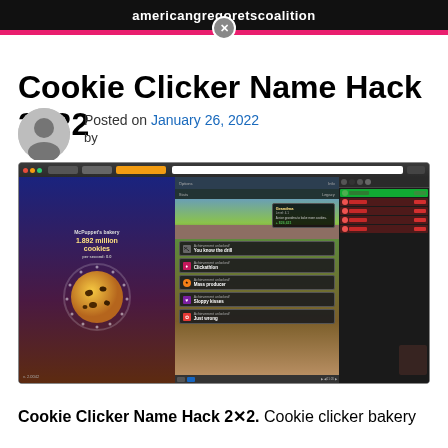americangregoretscoalition ✕
Cookie Clicker Name Hack 2022
Posted on January 26, 2022 by
[Figure (screenshot): Screenshot of Cookie Clicker browser game showing McPuppet's bakery with 1.892 million cookies, achievement popups including 'You know the drill', 'Clickathlon', 'Mass producer', 'Sloppy kisses', and 'Just wrong']
Cookie Clicker Name Hack 2⊗2. Cookie clicker bakery